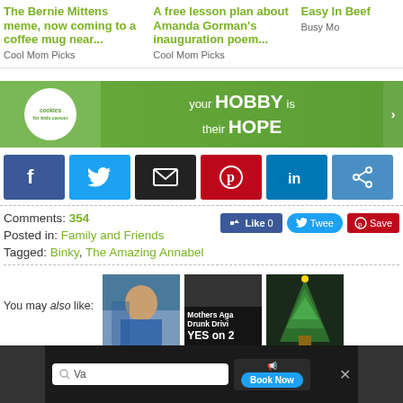The Bernie Mittens meme, now coming to a coffee mug near...
Cool Mom Picks
A free lesson plan about Amanda Gorman's inauguration poem...
Cool Mom Picks
Easy In Beef
Busy Mo
[Figure (photo): Advertisement banner: cookies for kids cancer - your HOBBY is their HOPE]
[Figure (infographic): Social sharing buttons: Facebook, Twitter, Email, Pinterest, LinkedIn, Share]
Comments: 354
Posted in: Family and Friends
Tagged: Binky, The Amazing Annabel
You may also like:
[Figure (photo): Thumbnail image of a boy in baseball uniform]
[Figure (photo): Thumbnail with overlay text: Mothers Against Drunk Driving YES on 2]
[Figure (photo): Thumbnail with Christmas tree]
[Figure (screenshot): Bottom browser bar with search field showing 'Va' and Book Now button]